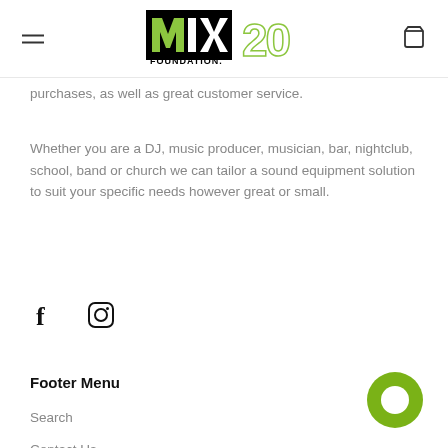MIX FOUNDATION 20 — navigation header
purchases, as well as great customer service.
Whether you are a DJ, music producer, musician, bar, nightclub, school, band or church we can tailor a sound equipment solution to suit your specific needs however great or small.
[Figure (illustration): Social media icons: Facebook (f) and Instagram (circle with camera outline)]
Footer Menu
Search
Contact Us
Payment Options
[Figure (illustration): Green circular chat/message bubble icon in bottom-right corner]